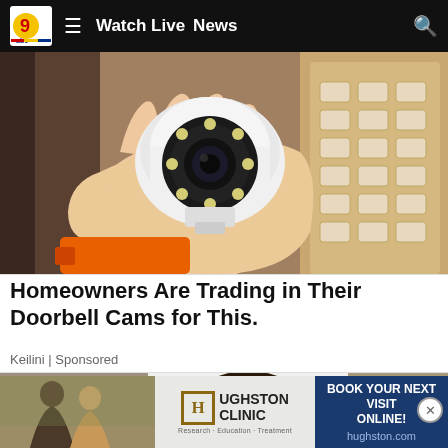Watch Live  News
[Figure (photo): A hand holding a small white security camera with a circular lens array and LED ring, with orange drill visible at bottom, cardboard box with foam inserts in background]
Homeowners Are Trading in Their Doorbell Cams for This.
Keilini | Sponsored
[Figure (photo): Partial view of a person's face/head with dark hair against a white and beige blurred background]
[Figure (photo): Hughston Clinic advertisement banner: two people on left, H logo with HUGHSTON CLINIC text center, BOOK YOUR NEXT VISIT ONLINE! hughston.com on right blue panel]